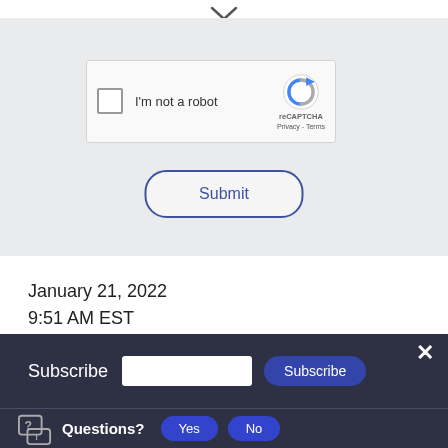[Figure (screenshot): reCAPTCHA widget with checkbox labeled 'I'm not a robot' and reCAPTCHA logo with Privacy and Terms links]
Submit
January 21, 2022
9:51 AM EST
Subscribe
Questions?
Yes
No